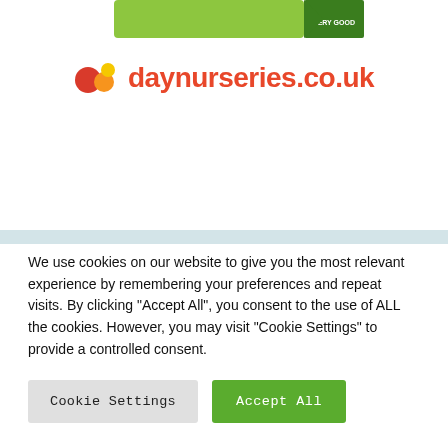[Figure (logo): Partial view of a green rating badge with 'VERY GOOD' text at top of page]
[Figure (logo): daynurseries.co.uk logo with colored circles (red, orange, yellow) and red text]
We use cookies on our website to give you the most relevant experience by remembering your preferences and repeat visits. By clicking "Accept All", you consent to the use of ALL the cookies. However, you may visit "Cookie Settings" to provide a controlled consent.
Cookie Settings | Accept All